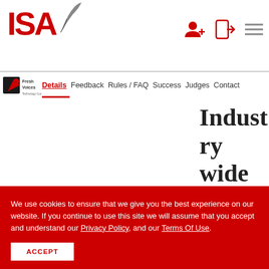[Figure (logo): ISA logo with red bold text 'ISA' and a grey feather/quill graphic to the right]
[Figure (logo): Header icons: user-add icon, login arrow icon, and hamburger menu icon in red]
[Figure (logo): Fresh Voices logo - small logo with leaf/microphone graphic and text 'Fresh Voices']
Details  Feedback  Rules / FAQ  Success  Judges  Contact
Industry wide and we are committed to your
We use cookies to ensure that we give you the best experience on our website. If you continue to use this site we will assume that you accept and understand our Privacy Policy, and our Terms Of Use.
ACCEPT